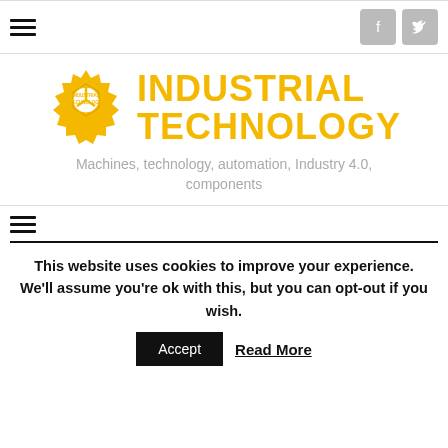[Figure (logo): Industrial Technology logo with gear/cog icon and text INDUSTRIAL TECHNOLOGY in bold yellow]
Machines, technology, automation, Industry 4.0, components
This website uses cookies to improve your experience. We'll assume you're ok with this, but you can opt-out if you wish.
Accept   Read More